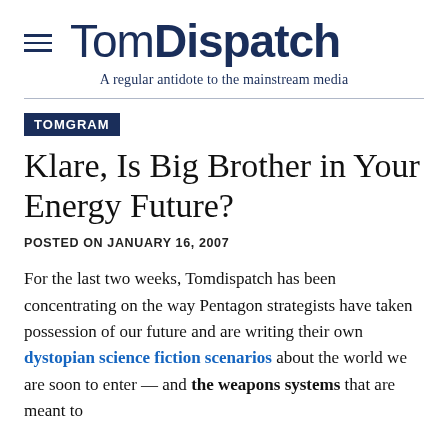TomDispatch — A regular antidote to the mainstream media
TOMGRAM
Klare, Is Big Brother in Your Energy Future?
POSTED ON JANUARY 16, 2007
For the last two weeks, Tomdispatch has been concentrating on the way Pentagon strategists have taken possession of our future and are writing their own dystopian science fiction scenarios about the world we are soon to enter — and the weapons systems that are meant to